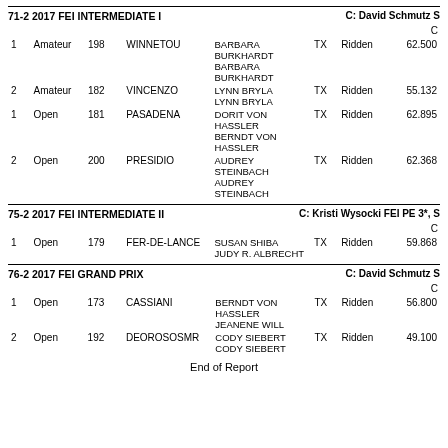71-2 2017 FEI INTERMEDIATE I   C: David Schmutz S
| Pl | Type | Entry | Horse | Rider | State | Ridden | C |
| --- | --- | --- | --- | --- | --- | --- | --- |
| 1 | Amateur | 198 | WINNETOU | BARBARA BURKHARDT BARBARA BURKHARDT | TX | Ridden | 62.500 |
| 2 | Amateur | 182 | VINCENZO | LYNN BRYLA LYNN BRYLA | TX | Ridden | 55.132 |
| 1 | Open | 181 | PASADENA | DORIT VON HASSLER BERNDT VON HASSLER | TX | Ridden | 62.895 |
| 2 | Open | 200 | PRESIDIO | AUDREY STEINBACH AUDREY STEINBACH | TX | Ridden | 62.368 |
75-2 2017 FEI INTERMEDIATE II   C: Kristi Wysocki FEI PE 3*, S
| Pl | Type | Entry | Horse | Rider | State | Ridden | C |
| --- | --- | --- | --- | --- | --- | --- | --- |
| 1 | Open | 179 | FER-DE-LANCE | SUSAN SHIBA JUDY R. ALBRECHT | TX | Ridden | 59.868 |
76-2 2017 FEI GRAND PRIX   C: David Schmutz S
| Pl | Type | Entry | Horse | Rider | State | Ridden | C |
| --- | --- | --- | --- | --- | --- | --- | --- |
| 1 | Open | 173 | CASSIANI | BERNDT VON HASSLER JEANENE WILL | TX | Ridden | 56.800 |
| 2 | Open | 192 | DEOROSOSMR | CODY SIEBERT CODY SIEBERT | TX | Ridden | 49.100 |
End of Report